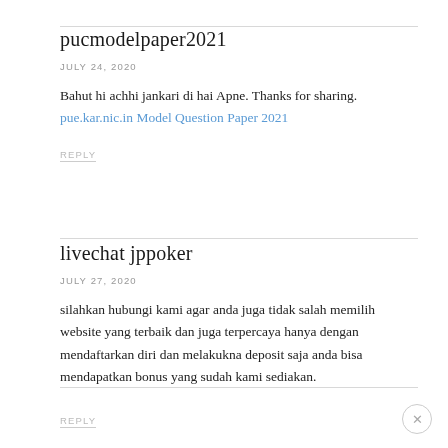pucmodelpaper2021
JULY 24, 2020
Bahut hi achhi jankari di hai Apne. Thanks for sharing. pue.kar.nic.in Model Question Paper 2021
REPLY
livechat jppoker
JULY 27, 2020
silahkan hubungi kami agar anda juga tidak salah memilih website yang terbaik dan juga terpercaya hanya dengan mendaftarkan diri dan melakukna deposit saja anda bisa mendapatkan bonus yang sudah kami sediakan.
REPLY